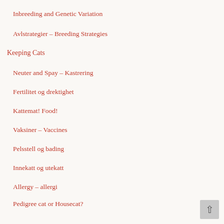Inbreeding and Genetic Variation
Avlstrategier – Breeding Strategies
Keeping Cats
Neuter and Spay – Kastrering
Fertilitet og drektighet
Kattemat! Food!
Vaksiner – Vaccines
Pelsstell og bading
Innekatt og utekatt
Allergy – allergi
Pedigree cat or Housecat?
Favourite Things
Kattefarger og genetikk (NO)
Den lille Genetikkskolen